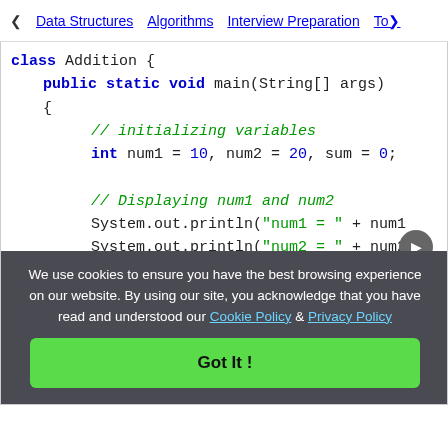< Data Structures   Algorithms   Interview Preparation   To>
[Figure (screenshot): Java code snippet showing Addition class with public static void main method, variable initialization, display statements, and addition operation]
We use cookies to ensure you have the best browsing experience on our website. By using our site, you acknowledge that you have read and understood our Cookie Policy & Privacy Policy
Got It !